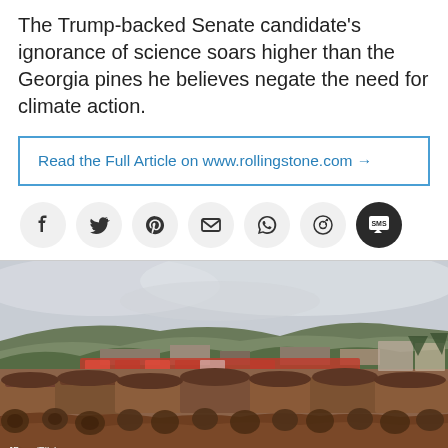The Trump-backed Senate candidate's ignorance of science soars higher than the Georgia pines he believes negate the need for climate action.
Read the Full Article on www.rollingstone.com →
[Figure (other): Social sharing icons: Facebook, Twitter, Pinterest, Email, WhatsApp, Reddit, SMS]
[Figure (photo): Large outdoor photo showing a massive log yard with hundreds of felled tree trunks piled up, industrial buildings and train in background, forested hills and overcast sky. Photo credit: JBrew/Flickr]